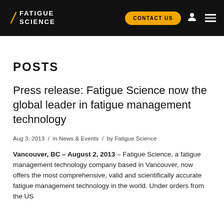FATIGUE SCIENCE | CONTACT US
POSTS
Press release: Fatigue Science now the global leader in fatigue management technology
Aug 3, 2013 / in News & Events / by Fatigue Science
Vancouver, BC – August 2, 2013 – Fatigue Science, a fatigue management technology company based in Vancouver, now offers the most comprehensive, valid and scientifically accurate fatigue management technology in the world. Under orders from the US Government, US T...